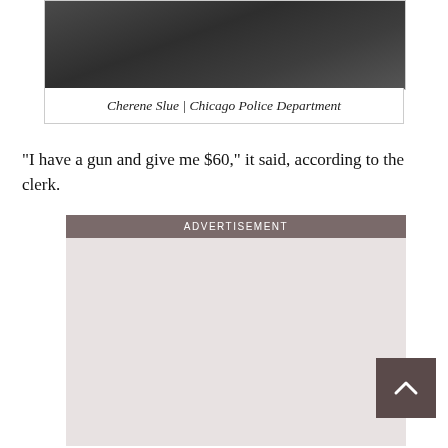[Figure (photo): Dark gray fabric or clothing photo — partial view, Chicago Police Department image]
Cherene Slue | Chicago Police Department
“I have a gun and give me $60,” it said, according to the clerk.
ADVERTISEMENT